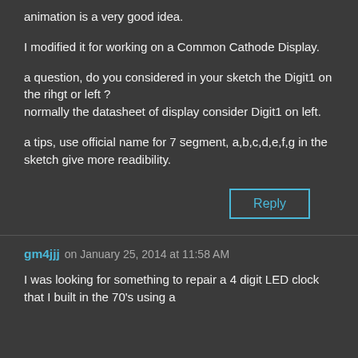animation is a very good idea.
I modified it for working on a Common Cathode Display.
a question, do you considered in your sketch the Digit1 on the rihgt or left ?
normally the datasheet of display consider Digit1 on left.
a tips, use official name for 7 segment, a,b,c,d,e,f,g in the sketch give more readibility.
Reply
gm4jjj on January 25, 2014 at 11:58 AM
I was looking for something to repair a 4 digit LED clock that I built in the 70's using a